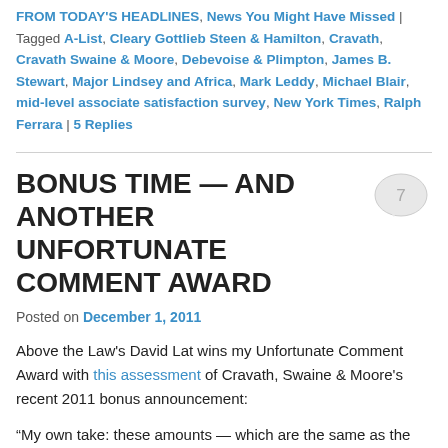FROM TODAY'S HEADLINES, News You Might Have Missed | Tagged A-List, Cleary Gottlieb Steen & Hamilton, Cravath, Cravath Swaine & Moore, Debevoise & Plimpton, James B. Stewart, Major Lindsey and Africa, Mark Leddy, Michael Blair, mid-level associate satisfaction survey, New York Times, Ralph Ferrara | 5 Replies
BONUS TIME — AND ANOTHER UNFORTUNATE COMMENT AWARD
Posted on December 1, 2011
Above the Law's David Lat wins my Unfortunate Comment Award with this assessment of Cravath, Swaine & Moore's recent 2011 bonus announcement:
“My own take: these amounts — which are the same as the 2010 and 2009 bonus scales at CSM, except for the